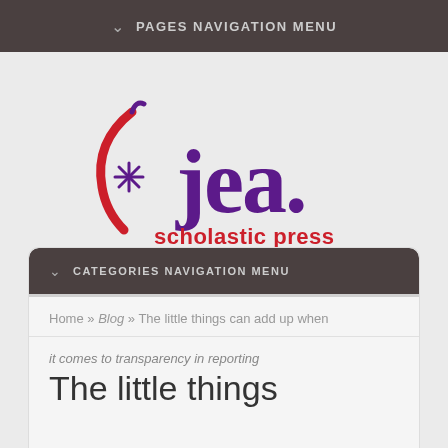PAGES NAVIGATION MENU
[Figure (logo): JEA Scholastic Press Rights Committee logo — red arc/swoosh with asterisk and purple 'jea.' wordmark, with 'scholastic press rights committee' in red below]
CATEGORIES NAVIGATION MENU
Home » Blog » The little things can add up when
it comes to transparency in reporting
The little things